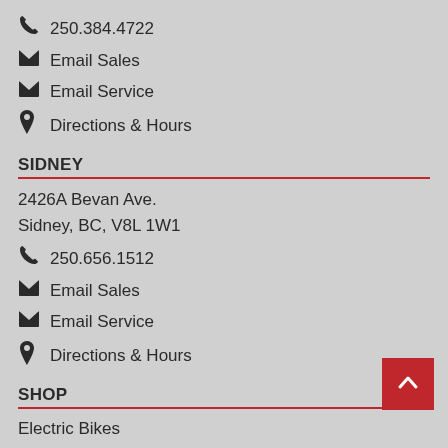250.384.4722
Email Sales
Email Service
Directions & Hours
SIDNEY
2426A Bevan Ave.
Sidney, BC, V8L 1W1
250.656.1512
Email Sales
Email Service
Directions & Hours
SHOP
Electric Bikes